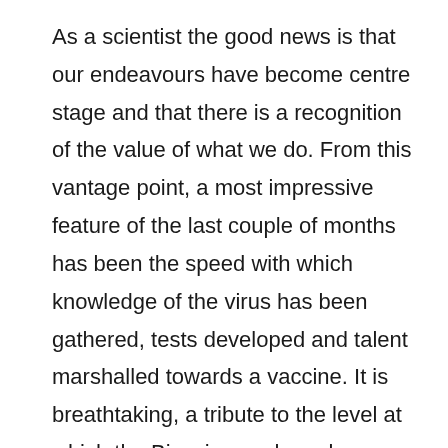As a scientist the good news is that our endeavours have become centre stage and that there is a recognition of the value of what we do. From this vantage point, a most impressive feature of the last couple of months has been the speed with which knowledge of the virus has been gathered, tests developed and talent marshalled towards a vaccine. It is breathtaking, a tribute to the level at which the Biosciences have been playing over the last few years. The pace at which Preprint servers and peer reviewed journals accumulate studies on, about and around the virus is surprising in terms of quantity and, in some cases, depth; quality is a different matter. The reason for this, I suspect, is that the last 10-20 years have seen an accumulation of people trained as scientists that